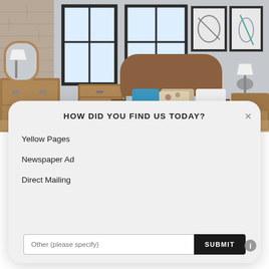[Figure (photo): Bedroom interior with wooden furniture, upholstered bed with teal and patterned pillows, light gray walls, brick accent wall, framed artwork, and table lamps.]
HOW DID YOU FIND US TODAY?
Yellow Pages
Newspaper Ad
Direct Mailing
Other (please specify)
SUBMIT